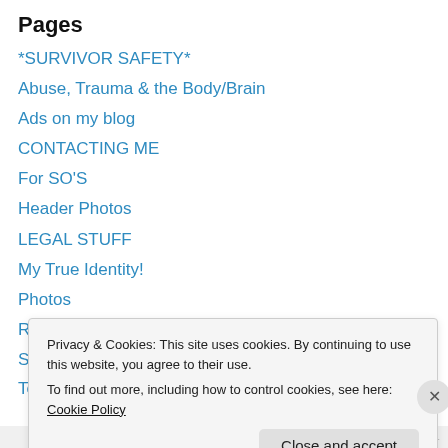Pages
*SURVIVOR SAFETY*
Abuse, Trauma & the Body/Brain
Ads on my blog
CONTACTING ME
For SO'S
Header Photos
LEGAL STUFF
My True Identity!
Photos
RESOURCES
Spam & Missing Comments
Telling My Story
Privacy & Cookies: This site uses cookies. By continuing to use this website, you agree to their use.
To find out more, including how to control cookies, see here: Cookie Policy